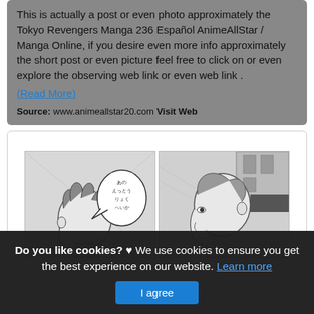This is actually a post or even photo approximately the Tokyo Revengers Manga 236 Español AnimeAllStar / Manga Online, if you desire even more info approximately the short post or even picture feel free to click on or even explore the observing web link or even web link . (Read More)
Source: www.animeallstar20.com Visit Web
[Figure (illustration): Two manga panel illustrations showing anime/manga characters. Left panel shows a character from behind with a speech bubble containing Japanese text. Right panel shows a different character from the side with a building in the background.]
Do you like cookies? ♥ We use cookies to ensure you get the best experience on our website. Learn more I agree